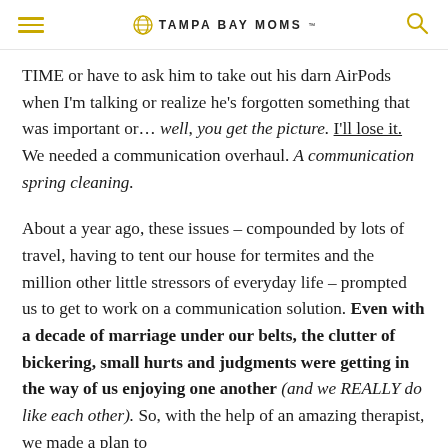TAMPA BAY MOMS
TIME or have to ask him to take out his darn AirPods when I'm talking or realize he's forgotten something that was important or... well, you get the picture. I'll lose it. We needed a communication overhaul. A communication spring cleaning.
About a year ago, these issues – compounded by lots of travel, having to tent our house for termites and the million other little stressors of everyday life – prompted us to get to work on a communication solution. Even with a decade of marriage under our belts, the clutter of bickering, small hurts and judgments were getting in the way of us enjoying one another (and we REALLY do like each other). So, with the help of an amazing therapist, we made a plan to